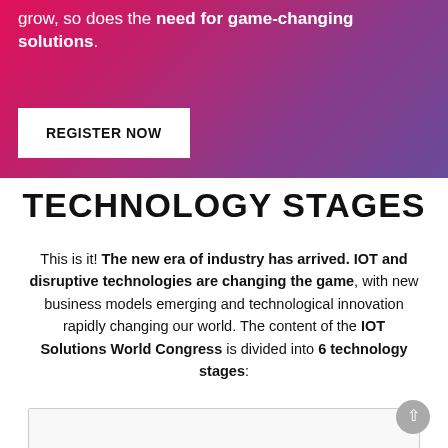grow, so does the need for game-changing solutions.
REGISTER NOW
TECHNOLOGY STAGES
This is it! The new era of industry has arrived. IOT and disruptive technologies are changing the game, with new business models emerging and technological innovation rapidly changing our world. The content of the IOT Solutions World Congress is divided into 6 technology stages: